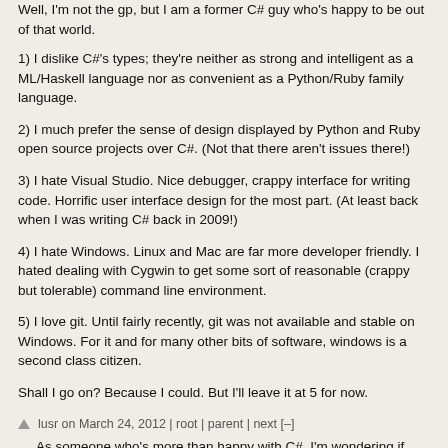Well, I'm not the gp, but I am a former C# guy who's happy to be out of that world.
1) I dislike C#'s types; they're neither as strong and intelligent as a ML/Haskell language nor as convenient as a Python/Ruby family language.
2) I much prefer the sense of design displayed by Python and Ruby open source projects over C#. (Not that there aren't issues there!)
3) I hate Visual Studio. Nice debugger, crappy interface for writing code. Horrific user interface design for the most part. (At least back when I was writing C# back in 2009!)
4) I hate Windows. Linux and Mac are far more developer friendly. I hated dealing with Cygwin to get some sort of reasonable (crappy but tolerable) command line environment.
5) I love git. Until fairly recently, git was not available and stable on Windows. For it and for many other bits of software, windows is a second class citizen.
Shall I go on? Because I could. But I'll leave it at 5 for now.
lusr on March 24, 2012 | root | parent | next [–]
As someone who's more than happy with C#, I'm wondering if there's a world out there I'm missing but I can't really connect with what you're saying.
1. "Strong and intelligent"? "Convenient"?
2. "Sense of design"? My current side project includes a